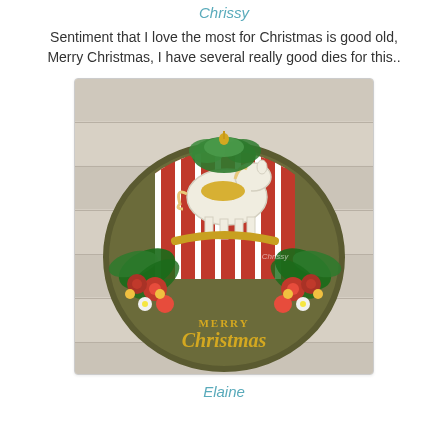Chrissy
Sentiment that I love the most for Christmas is good old, Merry Christmas, I have several really good dies for this..
[Figure (photo): A circular Christmas wreath craft decoration featuring a rocking horse, red and white striped background, red poinsettia flowers, green foliage, and a gold 'Merry Christmas' text cutout at the bottom, placed on a light wooden surface. A watermark reading 'Chrissy' is visible.]
Elaine